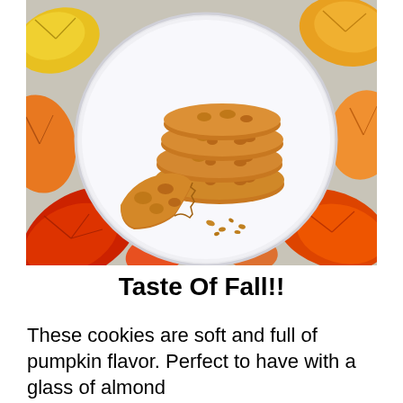[Figure (photo): A white plate with a stack of golden-orange pumpkin oatmeal cookies on top, and one cookie broken in half showing crumbs in the front, surrounded by colorful autumn leaves (yellow, orange, red) on a light background.]
Taste Of Fall!!
These cookies are soft and full of pumpkin flavor. Perfect to have with a glass of almond